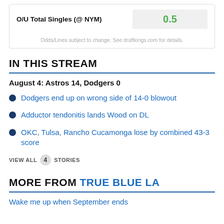| O/U Total Singles (@ NYM) | 0.5 |
| --- | --- |
Odds/Lines subject to change. See draftkings.com for details.
IN THIS STREAM
August 4: Astros 14, Dodgers 0
Dodgers end up on wrong side of 14-0 blowout
Adductor tendonitis lands Wood on DL
OKC, Tulsa, Rancho Cucamonga lose by combined 43-3 score
VIEW ALL 4 STORIES
MORE FROM TRUE BLUE LA
Wake me up when September ends